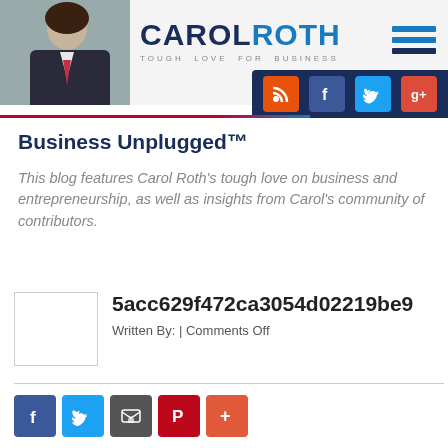[Figure (screenshot): Carol Roth website header with logo, photo, hamburger menu, and social icons (RSS, Facebook, Twitter, Google+)]
Business Unplugged™
This blog features Carol Roth's tough love on business and entrepreneurship, as well as insights from Carol's community of contributors.
5acc629f472ca3054d02219be9
Written By: | Comments Off
[Figure (other): Social share buttons: Facebook, Twitter, Email/Share, Pinterest, More (+)]